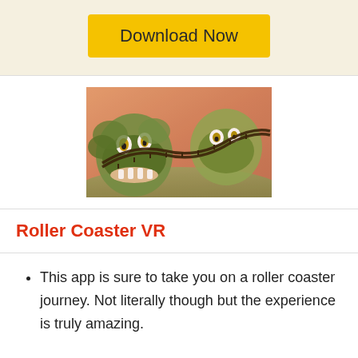Download Now
[Figure (photo): Roller coaster VR screenshot showing animated monster faces and a roller coaster track in a jungle setting]
Roller Coaster VR
This app is sure to take you on a roller coaster journey. Not literally though but the experience is truly amazing.